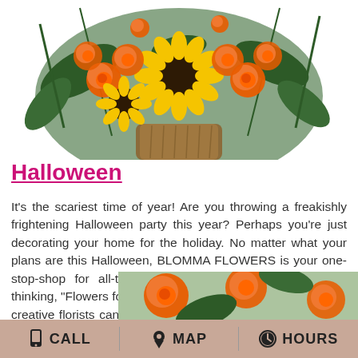[Figure (photo): A floral arrangement featuring orange roses, yellow sunflowers, and greenery in a bronze/copper vase, shown from above with the bottom of the vase visible. The photo is cropped at the top.]
Halloween
It's the scariest time of year! Are you throwing a freakishly frightening Halloween party this year? Perhaps you're just decorating your home for the holiday. No matter what your plans are this Halloween, BLOMMA FLOWERS is your one-stop-shop for all-things Halloween! I know what you're thinking, "Flowers for Halloween?" but you'd be surprise what creative florists can come up with! Let BLOMMA FLOWERS in Houston take your Halloween party or get-together to the next level!
[Figure (photo): Partial view of orange roses and green leaves in a floral arrangement, cropped at the bottom of the page.]
CALL   MAP   HOURS